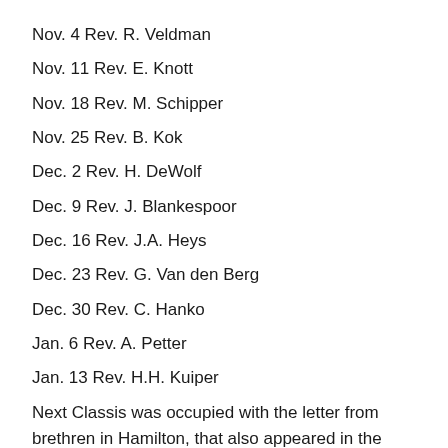Nov. 4 Rev. R. Veldman
Nov. 11 Rev. E. Knott
Nov. 18 Rev. M. Schipper
Nov. 25 Rev. B. Kok
Dec. 2 Rev. H. DeWolf
Dec. 9 Rev. J. Blankespoor
Dec. 16 Rev. J.A. Heys
Dec. 23 Rev. G. Van den Berg
Dec. 30 Rev. C. Hanko
Jan. 6 Rev. A. Petter
Jan. 13 Rev. H.H. Kuiper
Next Classis was occupied with the letter from brethren in Hamilton, that also appeared in the Standard Bearer of Oct. 1, 1951. This letter was read